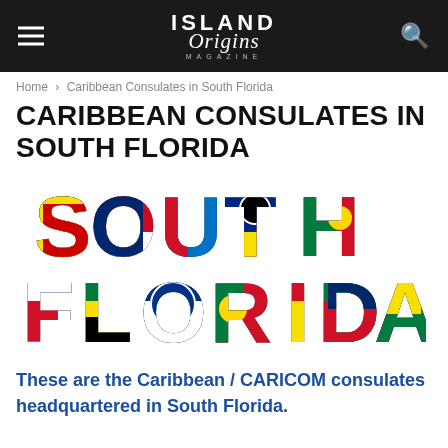ISLAND Origins MAGAZINE
Home › Caribbean Consulates in South Florida
CARIBBEAN CONSULATES IN SOUTH FLORIDA
[Figure (illustration): The words SOUTH FLORIDA rendered in large block letters filled with colorful Caribbean national flags.]
These are the Caribbean / CARICOM consulates headquartered in South Florida.